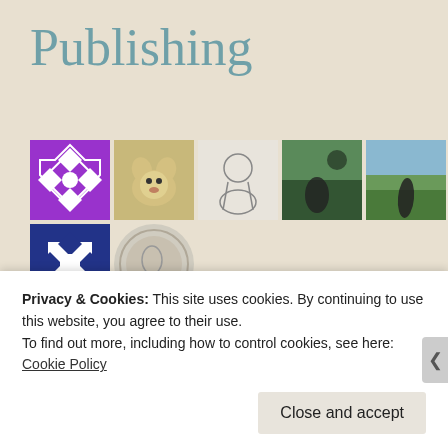Publishing
[Figure (photo): Grid of user avatar images including purple geometric patterns, a dog photo, a sketch portrait, outdoor scenes, green and pink geometric patterns, a blue geometric pattern, and a coin illustration]
Search …
Advertisements
[Figure (logo): Jetpack advertisement banner with green background, Jetpack logo and name]
Privacy & Cookies: This site uses cookies. By continuing to use this website, you agree to their use.
To find out more, including how to control cookies, see here: Cookie Policy
Close and accept